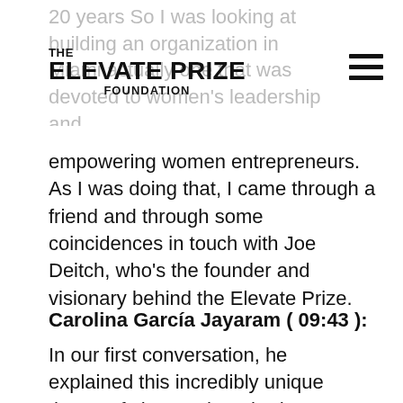THE ELEVATE PRIZE FOUNDATION
empowering women entrepreneurs. As I was doing that, I came through a friend and through some coincidences in touch with Joe Deitch, who's the founder and visionary behind the Elevate Prize.
Carolina García Jayaram ( 09:43 ):
In our first conversation, he explained this incredibly unique theory of change that I had never really come across, but I had lived the need of, as a nonprofit recipient, a funding, this total lack of support around visibility and marketing, and the piece that I felt was really could be the game-changer for somebody nonprofit. So I met Joe. We had one phone